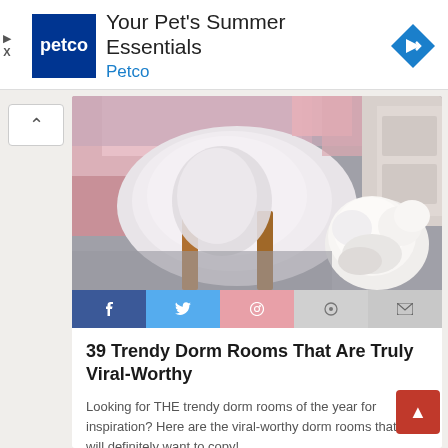[Figure (logo): Petco advertisement banner with Petco logo, title 'Your Pet's Summer Essentials', brand name 'Petco', and a blue diamond navigation arrow icon]
[Figure (photo): Photo of a dorm room showing a bed with pink and white bedding, wooden chair legs, and a fluffy white dog on a gray carpet]
39 Trendy Dorm Rooms That Are Truly Viral-Worthy
Looking for THE trendy dorm rooms of the year for inspiration? Here are the viral-worthy dorm rooms that you will definitely want to copy!